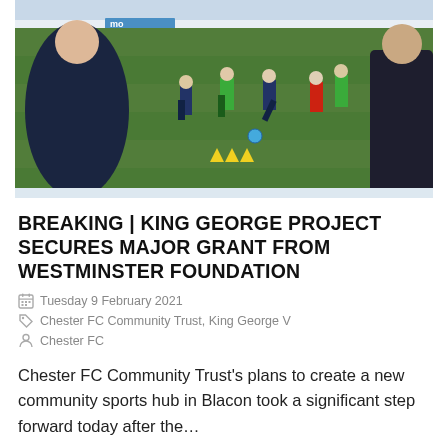[Figure (photo): Outdoor football training session on a grass pitch. Two adults in dark jackets stand on either side of the frame watching children in green bibs and coloured kits practice with cones and a blue ball. A white perimeter wall with a blue 'mo' advertisement banner is visible in the background.]
BREAKING | KING GEORGE PROJECT SECURES MAJOR GRANT FROM WESTMINSTER FOUNDATION
Tuesday 9 February 2021
Chester FC Community Trust, King George V
Chester FC
Chester FC Community Trust's plans to create a new community sports hub in Blacon took a significant step forward today after the…